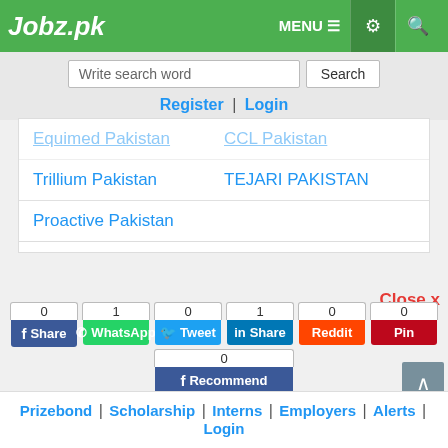Jobz.pk
Write search word | Search
Register | Login
Equimed Pakistan
CCL Pakistan
Trillium Pakistan
TEJARI PAKISTAN
Proactive Pakistan
Close x
0 Share | 1 WhatsApp | 0 Tweet | 1 Share | 0 Reddit | 0 Pin | 0 Recommend
Prizebond | Scholarship | Interns | Employers | Alerts | Login